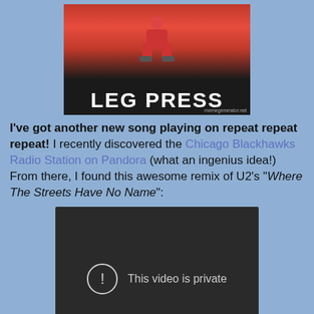[Figure (photo): Meme image with dark background showing a person in red tracksuit sitting on gym equipment, with large white bold text 'LEG PRESS' and watermark 'memegenerator.net']
I've got another new song playing on repeat repeat repeat! I recently discovered the Chicago Blackhawks Radio Station on Pandora (what an ingenius idea!) From there, I found this awesome remix of U2's "Where The Streets Have No Name":
[Figure (screenshot): Embedded video player with dark background showing 'This video is private' message with an exclamation mark circle icon]